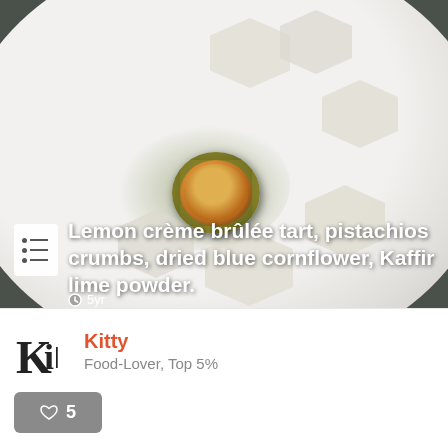[Figure (photo): Food photo of a lemon crème brûlée tart with pistachio crumbs, dried blue cornflower, and Kaffir lime powder on a white plate with hexagonal jelly garnishes, placed on a dark stone surface.]
Lemon crème brûlée tart, pistachios crumbs, dried blue cornflower, Kaffir lime powder.
5yr
Kitty
Food-Lover, Top 5%
5